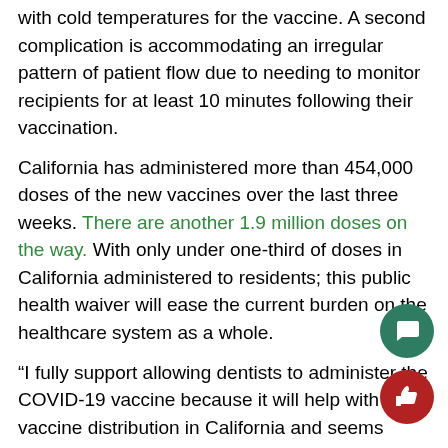with cold temperatures for the vaccine. A second complication is accommodating an irregular pattern of patient flow due to needing to monitor recipients for at least 10 minutes following their vaccination.
California has administered more than 454,000 doses of the new vaccines over the last three weeks. There are another 1.9 million doses on the way. With only under one-third of doses in California administered to residents; this public health waiver will ease the current burden on the healthcare system as a whole.
“I fully support allowing dentists to administer the COVID-19 vaccine because it will help with vaccine distribution in California and seems completely logical. I would definitely feel comfortable receiving my vaccine from my dentist,” junior Lily Wood said.
“When I heard that governor Gavin Newsom was allowing dentists to give the vaccine, I went online to